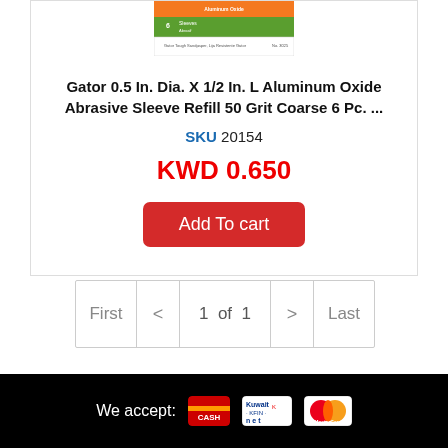[Figure (photo): Product image of Gator abrasive sleeve packaging with orange and green label]
Gator 0.5 In. Dia. X 1/2 In. L Aluminum Oxide Abrasive Sleeve Refill 50 Grit Coarse 6 Pc. ...
SKU 20154
KWD 0.650
Add To cart
First < 1 of 1 > Last
We accept: [Knet logo] [MasterCard logo]